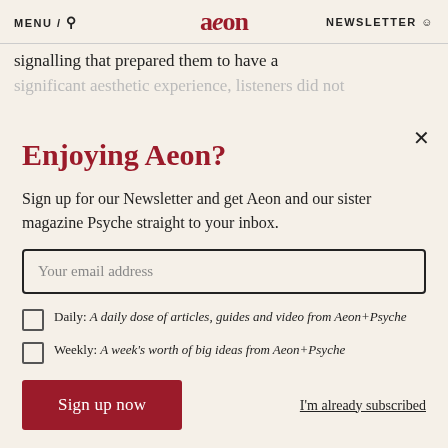MENU / 🔍   aeon   NEWSLETTER 👤
signalling that prepared them to have a significant aesthetic experience, listeners did not
Enjoying Aeon?
Sign up for our Newsletter and get Aeon and our sister magazine Psyche straight to your inbox.
Your email address
Daily: A daily dose of articles, guides and video from Aeon+Psyche
Weekly: A week's worth of big ideas from Aeon+Psyche
Sign up now
I'm already subscribed
Privacy policy